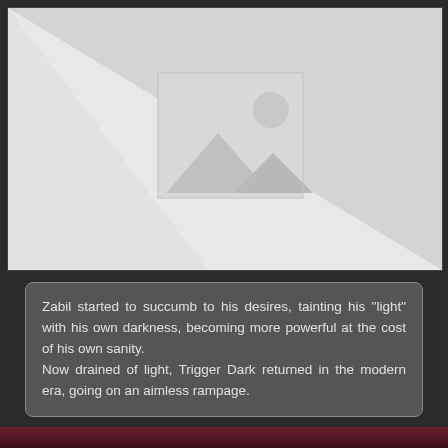[Figure (photo): Placeholder image with grey background showing mountain/landscape icon with sun circle in upper right area]
Zabil started to succumb to his desires, tainting his "light" with his own darkness, becoming more powerful at the cost of his own sanity.
Now drained of light, Trigger Dark returned in the modern era, going on an aimless rampage.
[Figure (photo): Dark reddish-purple toned image, partially visible at bottom of page]